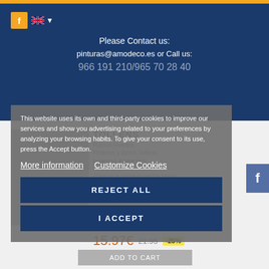Please Contact us: pinturas@amodeco.es or Call us: 966 191 210/965 70 28 40
[Figure (screenshot): Background product page showing Tollens paint product with price 15.97€ (was 21.95), -25% badge, and Add to Cart button]
This website uses its own and third-party cookies to improve our services and show you advertising related to your preferences by analyzing your browsing habits. To give your consent to its use, press the Accept button.
More information    Customize Cookies
REJECT ALL
I ACCEPT